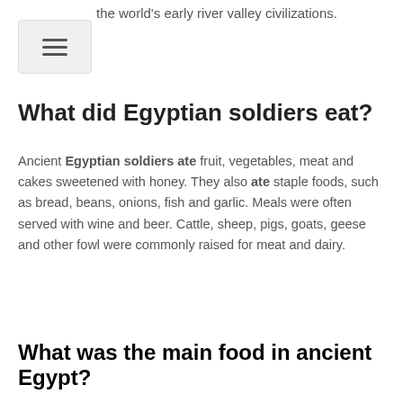the world's early river valley civilizations.
What did Egyptian soldiers eat?
Ancient Egyptian soldiers ate fruit, vegetables, meat and cakes sweetened with honey. They also ate staple foods, such as bread, beans, onions, fish and garlic. Meals were often served with wine and beer. Cattle, sheep, pigs, goats, geese and other fowl were commonly raised for meat and dairy.
What was the main food in ancient Egypt?
The ancient Egyptians loved garlic. They also ate green vegetables, lentils, figs, dates, onions, fish, birds, eggs, cheese, and butter. Their staple foods were bread and beer.
What did ancient Egyptian pharaohs eat?